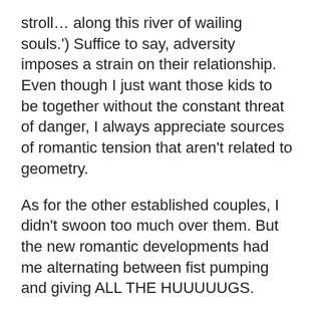stroll… along this river of wailing souls.') Suffice to say, adversity imposes a strain on their relationship. Even though I just want those kids to be together without the constant threat of danger, I always appreciate sources of romantic tension that aren't related to geometry.
As for the other established couples, I didn't swoon too much over them. But the new romantic developments had me alternating between fist pumping and giving ALL THE HUUUUUGS.
Talky Talk: Straight Up Rick Riordan
Seeing as this is the eighth book of his that I've reviewed, you'd think that I'd run out of ways to praise Rick Riordan by now, right? But he's continuously upping his game, keeping this long-lasting series as fresh and interesting as ever. Riordan also pulls off some characterization course